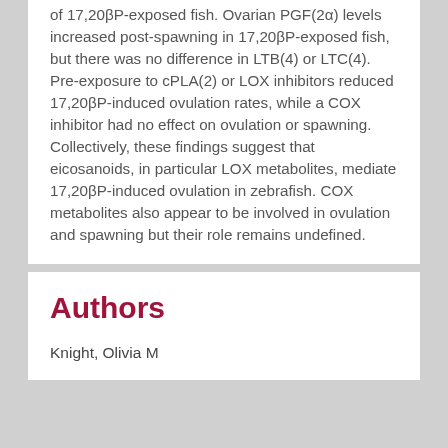of 17,20βP-exposed fish. Ovarian PGF(2α) levels increased post-spawning in 17,20βP-exposed fish, but there was no difference in LTB(4) or LTC(4). Pre-exposure to cPLA(2) or LOX inhibitors reduced 17,20βP-induced ovulation rates, while a COX inhibitor had no effect on ovulation or spawning. Collectively, these findings suggest that eicosanoids, in particular LOX metabolites, mediate 17,20βP-induced ovulation in zebrafish. COX metabolites also appear to be involved in ovulation and spawning but their role remains undefined.
Authors
Knight, Olivia M